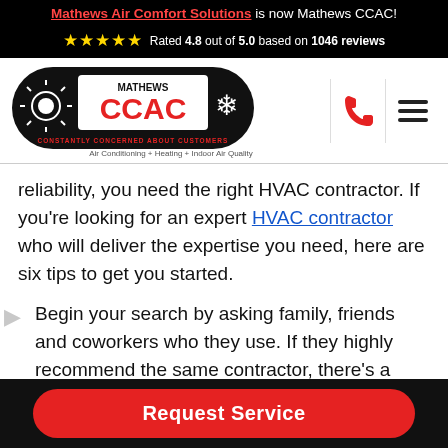Mathews Air Comfort Solutions is now Mathews CCAC!
Rated 4.8 out of 5.0 based on 1046 reviews
[Figure (logo): Mathews CCAC logo with sun and snowflake icons. Tagline: CONSTANTLY CONCERNED ABOUT CUSTOMERS. Air Conditioning + Heating + Indoor Air Quality]
reliability, you need the right HVAC contractor. If you're looking for an expert HVAC contractor who will deliver the expertise you need, here are six tips to get you started.
Begin your search by asking family, friends and coworkers who they use. If they highly recommend the same contractor, there's a good
Request Service